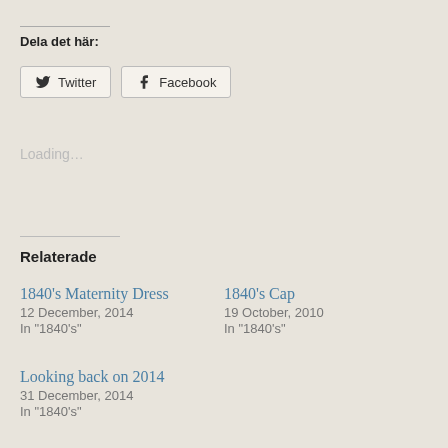Dela det här:
[Figure (screenshot): Twitter and Facebook share buttons]
Loading...
Relaterade
1840's Maternity Dress
12 December, 2014
In "1840's"
1840's Cap
19 October, 2010
In "1840's"
Looking back on 2014
31 December, 2014
In "1840's"